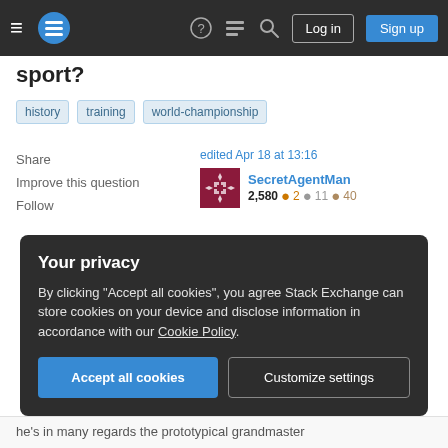Stack Exchange navigation bar with hamburger menu, logo, help, forum, search icons, Log in and Sign up buttons
sport?
history
training
world-championship
Share
Improve this question
Follow
edited Apr 18 at 13:16
SecretAgentMan
2,580 ● 2 ● 11 ● 40
asked Apr 17 at 18:54
Brian Towers ♦
78.7k ● 7 ● 193 ● 319
Your privacy
By clicking "Accept all cookies", you agree Stack Exchange can store cookies on your device and disclose information in accordance with our Cookie Policy.
Accept all cookies
Customize settings
he's in many regards the prototypical grandmaster